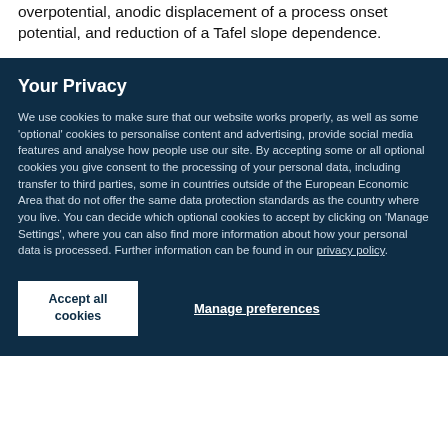overpotential, anodic displacement of a process onset potential, and reduction of a Tafel slope dependence.
Your Privacy
We use cookies to make sure that our website works properly, as well as some 'optional' cookies to personalise content and advertising, provide social media features and analyse how people use our site. By accepting some or all optional cookies you give consent to the processing of your personal data, including transfer to third parties, some in countries outside of the European Economic Area that do not offer the same data protection standards as the country where you live. You can decide which optional cookies to accept by clicking on 'Manage Settings', where you can also find more information about how your personal data is processed. Further information can be found in our privacy policy.
Accept all cookies
Manage preferences